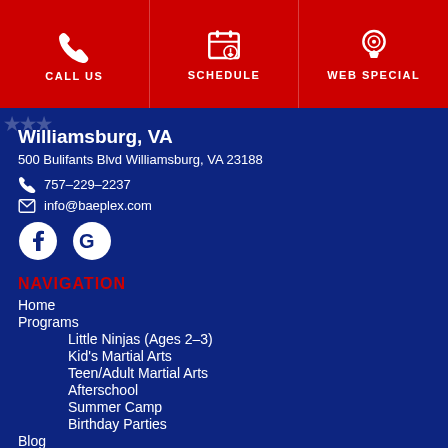CALL US | SCHEDULE | WEB SPECIAL
Williamsburg, VA
500 Bulifants Blvd Williamsburg, VA 23188
757-229-2237
info@baeplex.com
[Figure (logo): Facebook and Google social media icons]
NAVIGATION
Home
Programs
Little Ninjas (Ages 2-3)
Kid's Martial Arts
Teen/Adult Martial Arts
Afterschool
Summer Camp
Birthday Parties
Blog